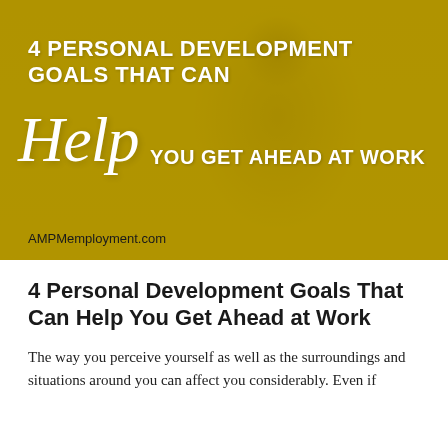[Figure (photo): Hero banner image showing a person at a desk, overlaid with a golden/yellow color filter. Text overlay reads '4 PERSONAL DEVELOPMENT GOALS THAT CAN Help YOU GET AHEAD AT WORK' with 'Help' in large italic script font. Bottom left shows 'AMPMemployment.com'.]
4 Personal Development Goals That Can Help You Get Ahead at Work
The way you perceive yourself as well as the surroundings and situations around you can affect you considerably. Even if